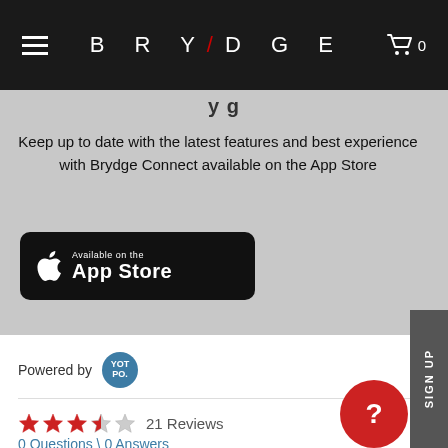BRYDGE — navigation bar with hamburger menu and cart (0)
Keep up to date with the latest features and best experience with Brydge Connect available on the App Store
[Figure (logo): Available on the App Store badge — black rounded rectangle with Apple logo and text 'Available on the App Store']
Powered by YOTPO
21 Reviews
0 Questions \ 0 Answers